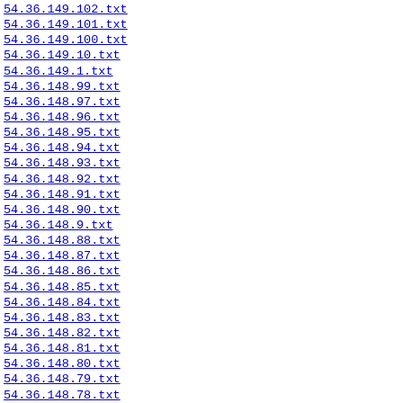54.36.149.102.txt
54.36.149.101.txt
54.36.149.100.txt
54.36.149.10.txt
54.36.149.1.txt
54.36.148.99.txt
54.36.148.97.txt
54.36.148.96.txt
54.36.148.95.txt
54.36.148.94.txt
54.36.148.93.txt
54.36.148.92.txt
54.36.148.91.txt
54.36.148.90.txt
54.36.148.9.txt
54.36.148.88.txt
54.36.148.87.txt
54.36.148.86.txt
54.36.148.85.txt
54.36.148.84.txt
54.36.148.83.txt
54.36.148.82.txt
54.36.148.81.txt
54.36.148.80.txt
54.36.148.79.txt
54.36.148.78.txt
54.36.148.77.txt
54.36.148.76.txt
54.36.148.75.txt
54.36.148.74.txt